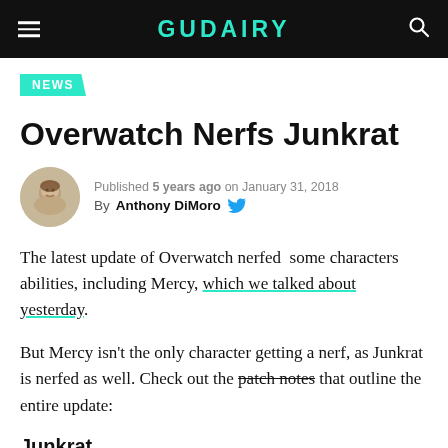GUDAIRY
NEWS
Overwatch Nerfs Junkrat
Published 5 years ago on January 31, 2018
By Anthony DiMoro
The latest update of Overwatch nerfed some characters abilities, including Mercy, which we talked about yesterday.
But Mercy isn't the only character getting a nerf, as Junkrat is nerfed as well. Check out the patch notes that outline the entire update:
Junkrat